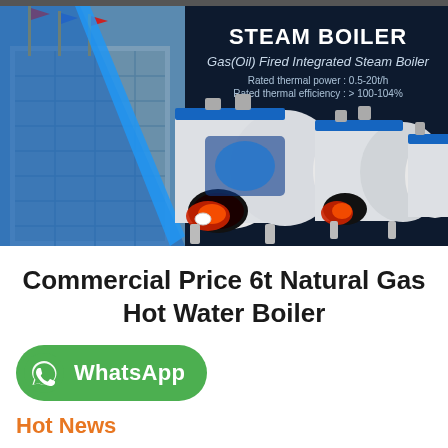[Figure (illustration): Dark navy banner showing a building with flags on the left and three white industrial steam boiler units on the right, with text overlay reading 'STEAM BOILER', 'Gas(Oil) Fired Integrated Steam Boiler', 'Rated thermal power: 0.5-20t/h', 'Rated thermal efficiency: > 100-104%']
Commercial Price 6t Natural Gas Hot Water Boiler
[Figure (logo): WhatsApp button with green rounded rectangle background, WhatsApp phone icon on left, and label 'WhatsApp' in white bold text]
Hot News